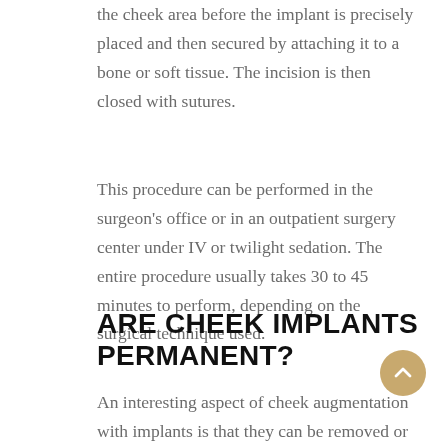the cheek area before the implant is precisely placed and then secured by attaching it to a bone or soft tissue. The incision is then closed with sutures.
This procedure can be performed in the surgeon's office or in an outpatient surgery center under IV or twilight sedation. The entire procedure usually takes 30 to 45 minutes to perform, depending on the surgical technique used.
ARE CHEEK IMPLANTS PERMANENT?
An interesting aspect of cheek augmentation with implants is that they can be removed or adjusted, should the patient want to do so. That, of course, would require another surgery. Generally most